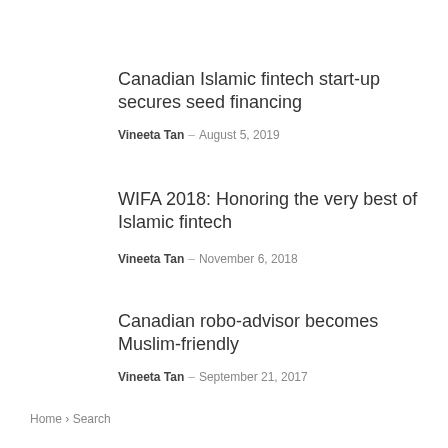Canadian Islamic fintech start-up secures seed financing
Vineeta Tan – August 5, 2019
WIFA 2018: Honoring the very best of Islamic fintech
Vineeta Tan – November 6, 2018
Canadian robo-advisor becomes Muslim-friendly
Vineeta Tan – September 21, 2017
Home › Search